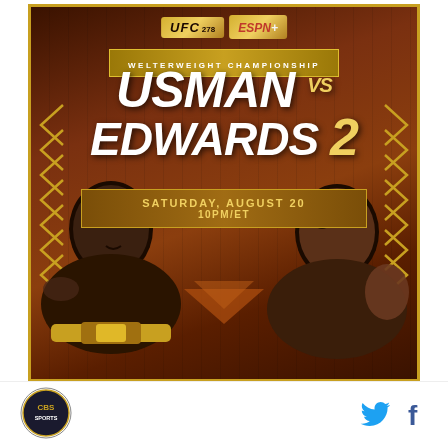[Figure (illustration): UFC 278 ESPN+ promotional poster for Welterweight Championship: Usman vs Edwards 2, Saturday August 20, 10PM/ET. Features two fighters facing each other and UFC/ESPN+ logos. Brown/gold color scheme with chevron decorations.]
USMAN vs EDWARDS 2
WELTERWEIGHT CHAMPIONSHIP
SATURDAY, AUGUST 20
10PM/ET
[Figure (logo): CBS Sports logo circle badge at bottom left]
[Figure (logo): Twitter bird icon and Facebook f icon at bottom right]